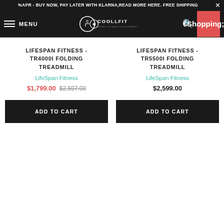%APR - BUY NOW, PAY LATER WITH KLARNA, READ MORE HERE. FREE SHIPPING
[Figure (screenshot): CoolLfit Home Fitness Equipment navigation bar with hamburger menu, logo, search icon, and cart showing 0 items]
LIFESPAN FITNESS - TR4000I FOLDING TREADMILL
LifeSpan Fitness
$1,799.00  $2,597.00
ADD TO CART
LIFESPAN FITNESS - TR5500I FOLDING TREADMILL
LifeSpan Fitness
$2,599.00
ADD TO CART